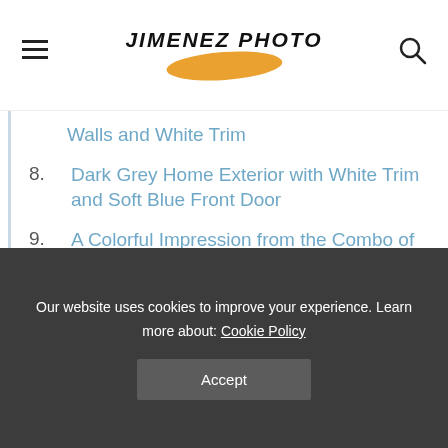JIMENEZ PHOTO
Walls and White Trim
8. Dark Grey Home Exterior with White Trim and Soft Blue Front Door
9. A Colorful Impression from the Combo of Dark Grey Textured Wall, White Trim, and Bright Blue Door
10. Dark Grey Color and White Trim Combo on a Brick House with Siding Combination
Our website uses cookies to improve your experience. Learn more about: Cookie Policy